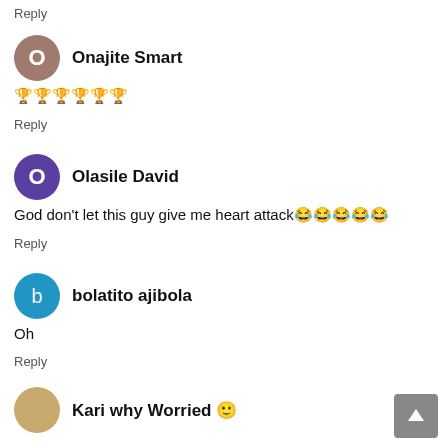Reply
Onajite Smart
🏆🏆🏆🏆🏆🏆
Reply
Olasile David
God don't let this guy give me heart attack😂😂😂😂😂
Reply
bolatito ajibola
Oh
Reply
Kari why Worried 😊